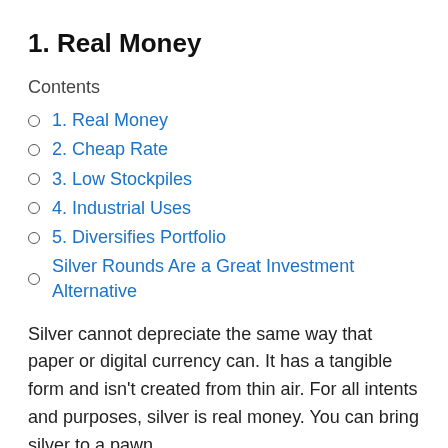1. Real Money
Contents
1. Real Money
2. Cheap Rate
3. Low Stockpiles
4. Industrial Uses
5. Diversifies Portfolio
Silver Rounds Are a Great Investment Alternative
Silver cannot depreciate the same way that paper or digital currency can. It has a tangible form and isn't created from thin air. For all intents and purposes, silver is real money. You can bring silver to a pawn